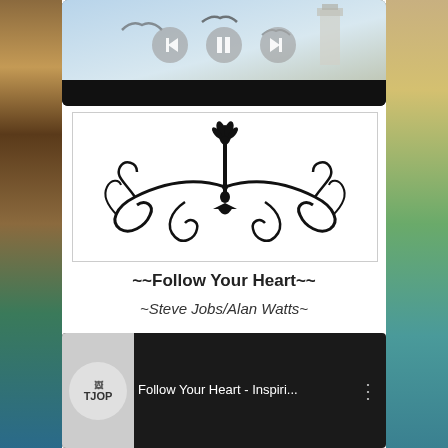[Figure (screenshot): Video/slideshow player showing seagulls and a lighthouse scene with playback controls (back, pause, forward) overlaid on the image, with a black bar at the bottom.]
[Figure (illustration): Decorative black floral/scroll ornament illustration on white background inside a thin bordered rectangle.]
~~Follow Your Heart~~
~Steve Jobs/Alan Watts~
[Figure (screenshot): YouTube-style video player showing a circular TJOP channel logo thumbnail and the title 'Follow Your Heart - Inspiri...' with a vertical dots menu icon, on a dark background.]